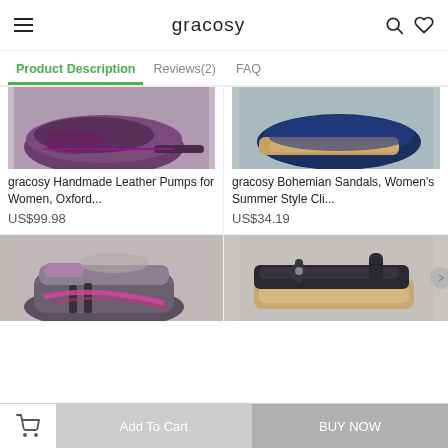gracosy
Product Description  Reviews(2)  FAQ
[Figure (photo): Purple leather Oxford pump shoe, partial view from above]
gracosy Handmade Leather Pumps for Women, Oxford...
US$99.98
[Figure (photo): Navy/tan Bohemian sandal, partial view from above]
gracosy Bohemian Sandals, Women's Summer Style Cli...
US$34.19
[Figure (photo): Gray and pink high-top sneaker, partial view]
[Figure (photo): Black wedge sandal with flower decoration, partial view]